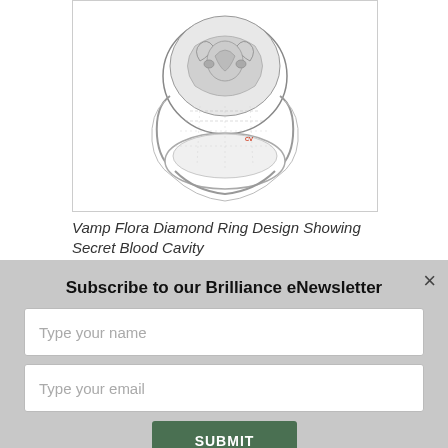[Figure (illustration): 3D CAD rendering/sketch of the Vamp Flora Diamond Ring design showing the secret blood cavity interior, displayed in grayscale with some red annotation marks]
Vamp Flora Diamond Ring Design Showing Secret Blood Cavity
Subscribe to our Brilliance eNewsletter
Type your name
Type your email
SUBMIT